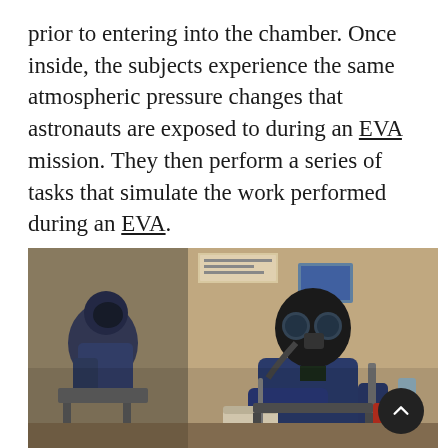prior to entering into the chamber. Once inside, the subjects experience the same atmospheric pressure changes that astronauts are exposed to during an EVA mission. They then perform a series of tasks that simulate the work performed during an EVA.
[Figure (photo): Photograph showing two subjects in blue jumpsuits wearing gas masks inside what appears to be a pressure chamber or aircraft interior, sitting in equipment/chairs with various apparatus around them.]